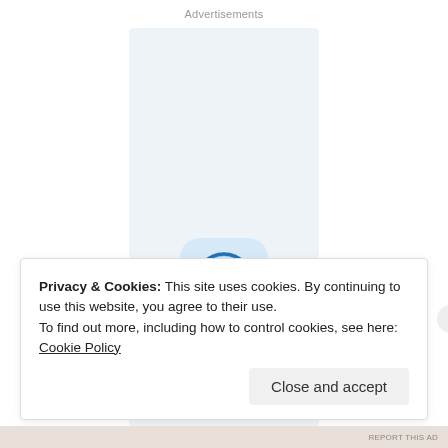Advertisements
[Figure (logo): WordPress logo icon with blue circle and W letter on light blue rounded square background, with large text 'Build a' below]
Privacy & Cookies: This site uses cookies. By continuing to use this website, you agree to their use.
To find out more, including how to control cookies, see here: Cookie Policy
Close and accept